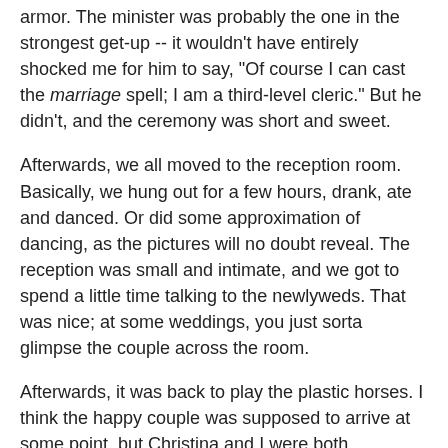armor. The minister was probably the one in the strongest get-up -- it wouldn't have entirely shocked me for him to say, "Of course I can cast the marriage spell; I am a third-level cleric." But he didn't, and the ceremony was short and sweet.
Afterwards, we all moved to the reception room. Basically, we hung out for a few hours, drank, ate and danced. Or did some approximation of dancing, as the pictures will no doubt reveal. The reception was small and intimate, and we got to spend a little time talking to the newlyweds. That was nice; at some weddings, you just sorta glimpse the couple across the room.
Afterwards, it was back to play the plastic horses. I think the happy couple was supposed to arrive at some point, but Christina and I were both exhausted. We had an early flight the next morning, so we called it a night.
The next morning we were woken up by a call from George, who had won most of his money back, and wanted to spend it on breakfast for people. Unfortunately, we had to catch our flight, so we packed and took a taxi to the airport. When we